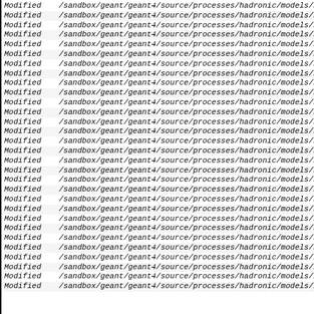Modified   /sandbox/geant/geant4/source/processes/hadronic/models/high_energy/src/G4HEAnti
Modified   /sandbox/geant/geant4/source/processes/hadronic/models/high_energy/src/G4HEAnti
Modified   /sandbox/geant/geant4/source/processes/hadronic/models/high_energy/src/G4HEAnti
Modified   /sandbox/geant/geant4/source/processes/hadronic/models/high_energy/src/G4HEAnti
Modified   /sandbox/geant/geant4/source/processes/hadronic/models/high_energy/src/G4HEAnti
Modified   /sandbox/geant/geant4/source/processes/hadronic/models/high_energy/src/G4HEAnti
Modified   /sandbox/geant/geant4/source/processes/hadronic/models/high_energy/src/G4HEAnti
Modified   /sandbox/geant/geant4/source/processes/hadronic/models/high_energy/src/G4HEInela
Modified   /sandbox/geant/geant4/source/processes/hadronic/models/high_energy/src/G4HEKao
Modified   /sandbox/geant/geant4/source/processes/hadronic/models/high_energy/src/G4HEKao
Modified   /sandbox/geant/geant4/source/processes/hadronic/models/high_energy/src/G4HEKao
Modified   /sandbox/geant/geant4/source/processes/hadronic/models/high_energy/src/G4HEKao
Modified   /sandbox/geant/geant4/source/processes/hadronic/models/high_energy/src/G4HEKao
Modified   /sandbox/geant/geant4/source/processes/hadronic/models/high_energy/src/G4HELam
Modified   /sandbox/geant/geant4/source/processes/hadronic/models/high_energy/src/G4HENeu
Modified   /sandbox/geant/geant4/source/processes/hadronic/models/high_energy/src/G4HEOme
Modified   /sandbox/geant/geant4/source/processes/hadronic/models/high_energy/src/G4HEPion
Modified   /sandbox/geant/geant4/source/processes/hadronic/models/high_energy/src/G4HEPion
Modified   /sandbox/geant/geant4/source/processes/hadronic/models/high_energy/src/G4HEPlot
Modified   /sandbox/geant/geant4/source/processes/hadronic/models/high_energy/src/G4HEProt
Modified   /sandbox/geant/geant4/source/processes/hadronic/models/high_energy/src/G4HESign
Modified   /sandbox/geant/geant4/source/processes/hadronic/models/high_energy/src/G4HESign
Modified   /sandbox/geant/geant4/source/processes/hadronic/models/high_energy/src/G4HESign
Modified   /sandbox/geant/geant4/source/processes/hadronic/models/high_energy/src/G4HEVect
Modified   /sandbox/geant/geant4/source/processes/hadronic/models/high_energy/src/G4HEXiMi
Modified   /sandbox/geant/geant4/source/processes/hadronic/models/high_energy/src/G4HEXiZe
Modified   /sandbox/geant/geant4/source/processes/hadronic/models/im_r_matrix/GNUmakefile
Modified   /sandbox/geant/geant4/source/processes/hadronic/models/im_r_matrix/README
Modified   /sandbox/geant/geant4/source/processes/hadronic/models/im_r_matrix/include/G4Ang
Modified   /sandbox/geant/geant4/source/processes/hadronic/models/im_r_matrix/include/G4Ang